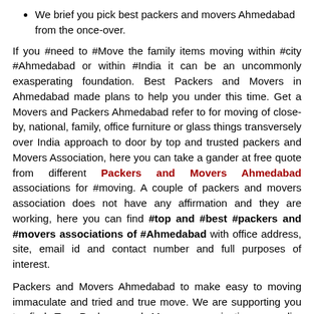We brief you pick best packers and movers Ahmedabad from the once-over.
If you #need to #Move the family items moving within #city #Ahmedabad or within #India it can be an uncommonly exasperating foundation. Best Packers and Movers in Ahmedabad made plans to help you under this time. Get a Movers and Packers Ahmedabad refer to for moving of close-by, national, family, office furniture or glass things transversely over India approach to door by top and trusted packers and Movers Association, here you can take a gander at free quote from different Packers and Movers Ahmedabad associations for #moving. A couple of packers and movers association does not have any affirmation and they are working, here you can find #top and #best #packers and #movers associations of #Ahmedabad with office address, site, email id and contact number and full purposes of interest.
Packers and Movers Ahmedabad to make easy to moving immaculate and tried and true move. We are supporting you to find Top Packers and Movers organizations supplier association in Ahmedabad.